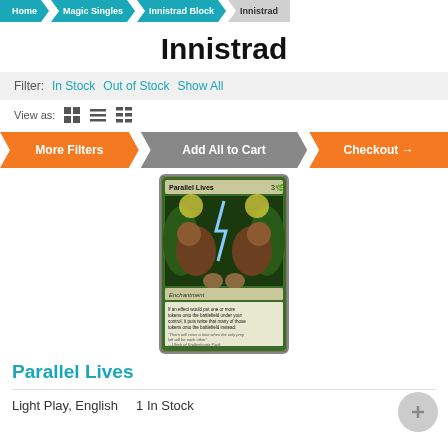Home | Magic Singles | Innistrad Block | Innistrad
Innistrad
Filter: In Stock  Out of Stock  Show All
View as:
More Filters  Add All to Cart  Checkout →
[Figure (photo): Magic: The Gathering card 'Parallel Lives' from Innistrad set, showing two werewolves facing each other with lightning between them, green enchantment card]
Parallel Lives
Light Play, English    1 In Stock